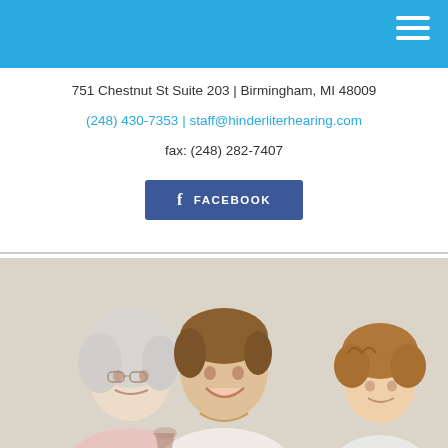751 Chestnut St Suite 203 | Birmingham, MI 48009
(248) 430-7353 | staff@hinderliterhearing.com
fax: (248) 282-7407
[Figure (photo): Three women — an older woman with white hair, a middle-aged woman smiling, and a child — in a social setting]
[Figure (logo): Facebook button with f icon and FACEBOOK label in white text on dark blue background]